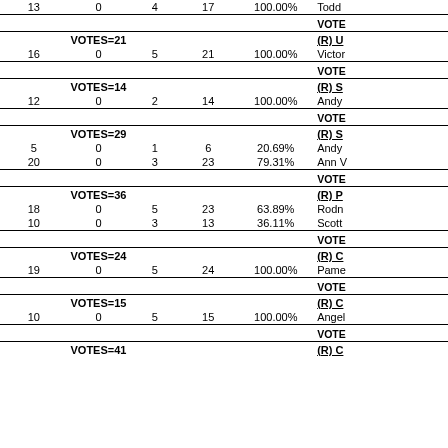| Col1 | Col2 | Col3 | Col4 | Col5 | Col6 |
| --- | --- | --- | --- | --- | --- |
| 13 | 0 | 4 | 17 | 100.00% | Todd |
| VOTE |  |  |  |  |  |
| VOTES=21 |  |  |  |  | (R) U |
| 16 | 0 | 5 | 21 | 100.00% | Victor |
| VOTE |  |  |  |  |  |
| VOTES=14 |  |  |  |  | (R) S |
| 12 | 0 | 2 | 14 | 100.00% | Andy |
| VOTE |  |  |  |  |  |
| VOTES=29 |  |  |  |  | (R) S |
| 5 | 0 | 1 | 6 | 20.69% | Andy |
| 20 | 0 | 3 | 23 | 79.31% | Ann V |
| VOTE |  |  |  |  |  |
| VOTES=36 |  |  |  |  | (R) P |
| 18 | 0 | 5 | 23 | 63.89% | Rodn |
| 10 | 0 | 3 | 13 | 36.11% | Scott |
| VOTE |  |  |  |  |  |
| VOTES=24 |  |  |  |  | (R) C |
| 19 | 0 | 5 | 24 | 100.00% | Pame |
| VOTE |  |  |  |  |  |
| VOTES=15 |  |  |  |  | (R) C |
| 10 | 0 | 5 | 15 | 100.00% | Angel |
| VOTE |  |  |  |  |  |
| VOTES=41 |  |  |  |  | (R) C |